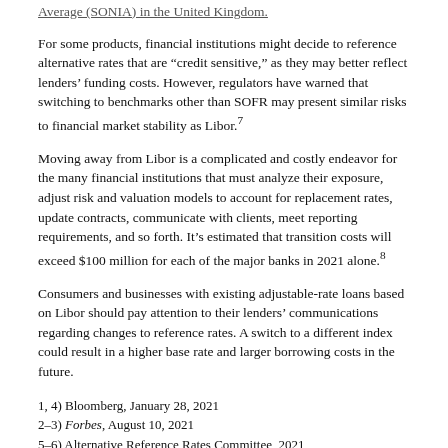Average (SONIA) in the United Kingdom.
For some products, financial institutions might decide to reference alternative rates that are “credit sensitive,” as they may better reflect lenders’ funding costs. However, regulators have warned that switching to benchmarks other than SOFR may present similar risks to financial market stability as Libor.7
Moving away from Libor is a complicated and costly endeavor for the many financial institutions that must analyze their exposure, adjust risk and valuation models to account for replacement rates, update contracts, communicate with clients, meet reporting requirements, and so forth. It’s estimated that transition costs will exceed $100 million for each of the major banks in 2021 alone.8
Consumers and businesses with existing adjustable-rate loans based on Libor should pay attention to their lenders’ communications regarding changes to reference rates. A switch to a different index could result in a higher base rate and larger borrowing costs in the future.
1, 4) Bloomberg, January 28, 2021
2–3) Forbes, August 10, 2021
5–6) Alternative Reference Rates Committee, 2021
7) The Wall Street Journal, August 16, 2021
8) Bloomberg, February 5, 2021
This information is not intended as tax, legal, investment, or retirement advice or recommendations, and it may not be relied on for the purpose of avoiding any federal tax penalties. You are encouraged to seek guidance from an independent tax or legal professional. The content is derived from sources believed to be accurate. Neither the information presented nor any opinion expressed constitutes